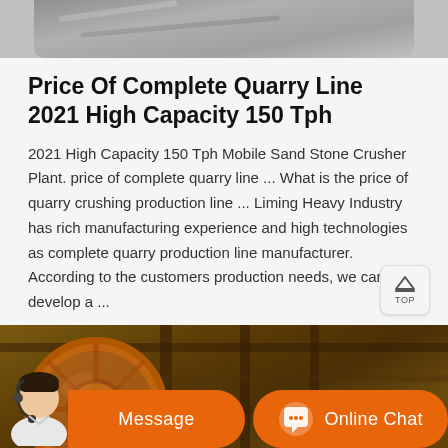[Figure (photo): Partial view of quarry or stone crushing machinery, grayscale industrial image at top]
Price Of Complete Quarry Line 2021 High Capacity 150 Tph
2021 High Capacity 150 Tph Mobile Sand Stone Crusher Plant. price of complete quarry line ... What is the price of quarry crushing production line ... Liming Heavy Industry has rich manufacturing experience and high technologies as complete quarry production line manufacturer. According to the customers production needs, we can develop a ...
[Figure (photo): Industrial quarry crusher machine with large orange flywheel/pulley wheel visible, under a wooden shed structure]
Message
Online Chat